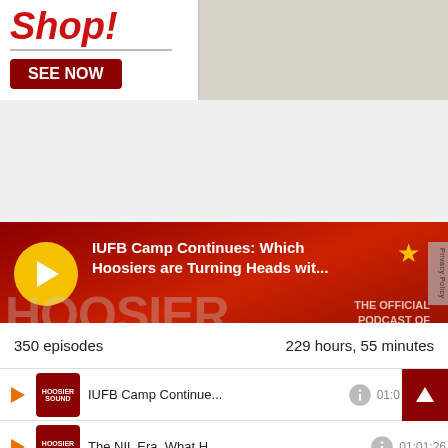[Figure (screenshot): Ad banner with 'Shop!' text in red, 'SEE NOW' dark red button on left, and a clothing item on right]
[Figure (screenshot): Hoosier Sound podcast player widget with red background, yellow play button, episode title 'IUFB Camp Continues: Which Hoosiers are Turning Heads wit...', timers 00:00 and 01:00:13, progress bar, star ratings]
350 episodes	229 hours, 55 minutes
IUFB Camp Continue...	01:00
The NIL Era, What H...	01:01:26